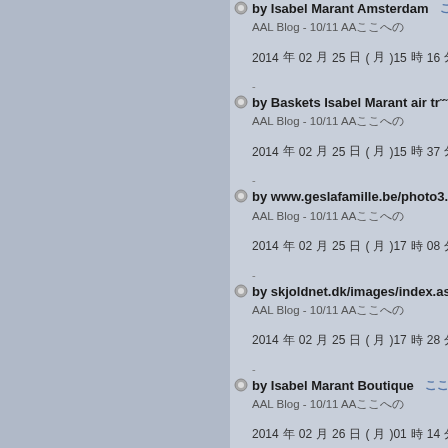by Isabel Marant Amsterdam [CJK]
AAL Blog - 10/11 AA[CJK]
2014年02月25日(月)15時16分 [CJK link]
by Baskets Isabel Marant air tr…
AAL Blog - 10/11 AA[CJK]
2014年02月25日(月)15時37分 [CJK link]
by www.geslafamille.be/photo3.
AAL Blog - 10/11 AA[CJK]
2014年02月25日(月)17時08分 [CJK link]
by skjoldnet.dk/images/index.as
AAL Blog - 10/11 AA[CJK]
2014年02月25日(月)17時28分 [CJK link]
by Isabel Marant Boutique [CJK]
AAL Blog - 10/11 AA[CJK]
2014年02月26日(月)01時14分 [CJK link]
by Air Max 97 [CJK]
AAL Blog - 10/11 AA[CJK]